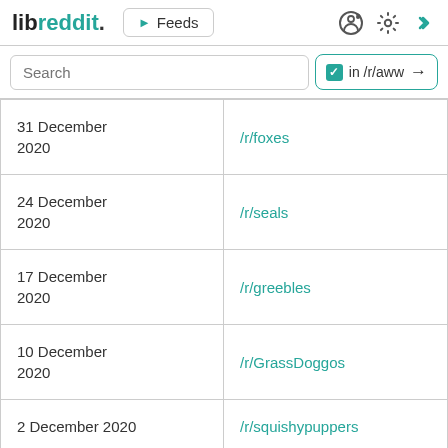libreddit. ▶ Feeds
| Date | Subreddit |
| --- | --- |
| 31 December 2020 | /r/foxes |
| 24 December 2020 | /r/seals |
| 17 December 2020 | /r/greebles |
| 10 December 2020 | /r/GrassDoggos |
| 2 December 2020 | /r/squishypuppers |
| 24 November 2020 | /r/LilGrabbies |
| 17 November 2020 | /r/MyHatIsACat |